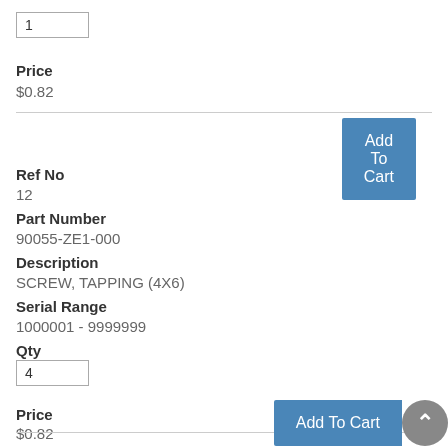1
Price
$0.82
Add To Cart
Ref No
12
Part Number
90055-ZE1-000
Description
SCREW, TAPPING (4X6)
Serial Range
1000001 - 9999999
Qty
4
Price
$0.82
Add To Cart